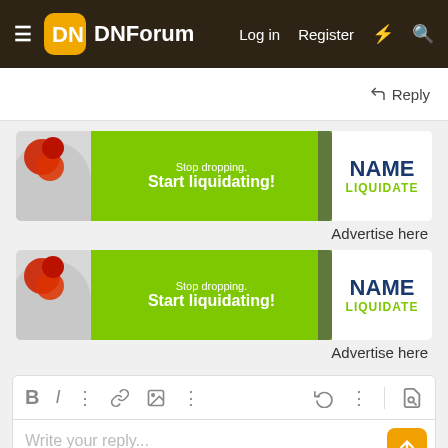DNForum — Log in  Register
Reply
[Figure (illustration): Name Liquidate advertisement banner: green banner with 'Stop dropping. Start liquidating!' text and NAME LIQUIDATE logo on white right side]
Advertise here
[Figure (illustration): Name Liquidate advertisement banner (duplicate): green banner with 'Stop dropping. Start liquidating!' text and NAME LIQUIDATE logo on white right side]
Advertise here
Write your reply...